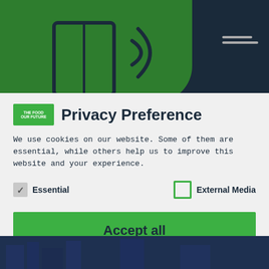[Figure (illustration): Website header with dark navy background, green illustrated banner with megaphone/book icon outline, and hamburger menu icon top right]
Privacy Preference
We use cookies on our website. Some of them are essential, while others help us to improve this website and your experience.
Essential (checked)
External Media (unchecked)
Accept all
Save
Individual Privacy Preferences
Cookie Details | Privacy Policy | Imprint
[Figure (photo): Dark navy bottom strip showing partial photo of a building or street scene]